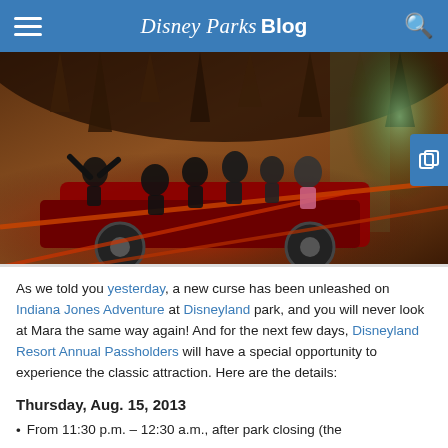Disney Parks Blog
[Figure (photo): Riders on the Indiana Jones Adventure attraction inside a cave-like environment with red lighting, stalactites, and ropes. The troop transport vehicle carries multiple guests through the dark atmospheric interior.]
As we told you yesterday, a new curse has been unleashed on Indiana Jones Adventure at Disneyland park, and you will never look at Mara the same way again! And for the next few days, Disneyland Resort Annual Passholders will have a special opportunity to experience the classic attraction. Here are the details:
Thursday, Aug. 15, 2013
From 11:30 p.m. – 12:30 a.m., after park closing (the